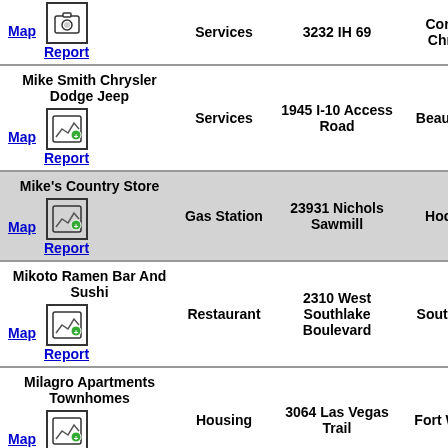| Name |  | Type | Address | City | Dist |
| --- | --- | --- | --- | --- | --- |
| [Map] [camera icon] Report | Services | 3232 IH 69 | Corpus Christi | Gun S... |
| Mike Smith Chrysler Dodge Jeep
[Map] [photo icon] Report | Services | 1945 I-10 Access Road | Beaumont | 30.0 |
| Mike's Country Store
[Map] [photo icon] Report | Gas Station | 23931 Nichols Sawmill | Hockey | 30.0 |
| Mikoto Ramen Bar And Sushi
[Map] [photo icon] Report | Restaurant | 2310 West Southlake Boulevard | Southlake | 30.0 |
| Milagro Apartments Townhomes
[Map] [photo icon] Report | Housing | 3064 Las Vegas Trail | Fort Worth | 30.0 |
| Mildfire Coffee Roasters
[Map] [photo icon] Report | Restaurant | 15502 Huebner Rd #101 | San Antonio | 30.0 |